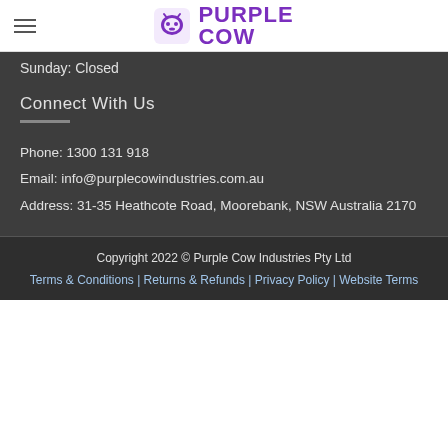Purple Cow (logo)
Sunday: Closed
Connect With Us
Phone: 1300 131 918
Email: info@purplecowindustries.com.au
Address: 31-35 Heathcote Road, Moorebank, NSW Australia 2170
Copyright 2022 © Purple Cow Industries Pty Ltd
Terms & Conditions | Returns & Refunds | Privacy Policy | Website Terms